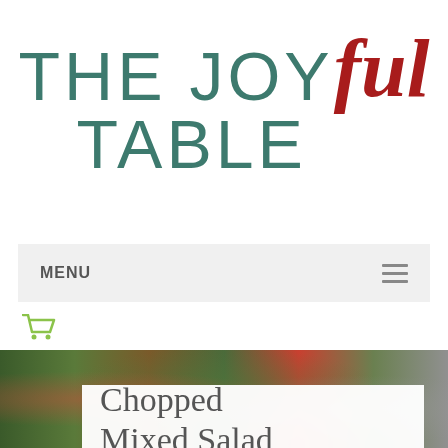THE JOYful TABLE
MENU
[Figure (photo): A food photo showing a chopped mixed salad with colorful vegetables including red peppers, green vegetables, and dressing in a bowl, with a cream/white dip on the side]
Chopped Mixed Salad